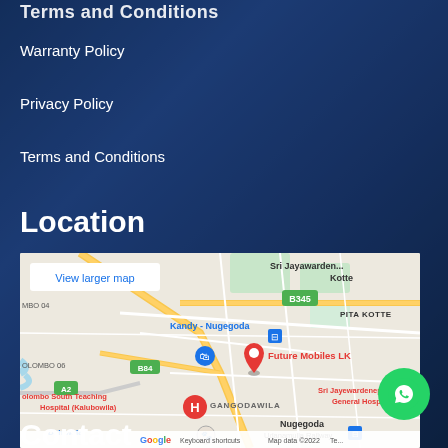Terms and Conditions
Warranty Policy
Privacy Policy
Terms and Conditions
Location
[Figure (map): Google Maps embed showing Future Mobiles LK location in Gangodawila, Nugegoda, Sri Lanka. Shows surrounding landmarks: Kandy-Nugegoda road, PITA KOTTE, Sri Jayewardenepura Kotte, Sri Jayewardenepura General Hospital, Colombo South Teaching Hospital (Kalubowila), Dehiwala, B345, B84, A2 roads. Red pin marker on Future Mobiles LK. 'View larger map' link visible. Map data ©2022 Google.]
Contact